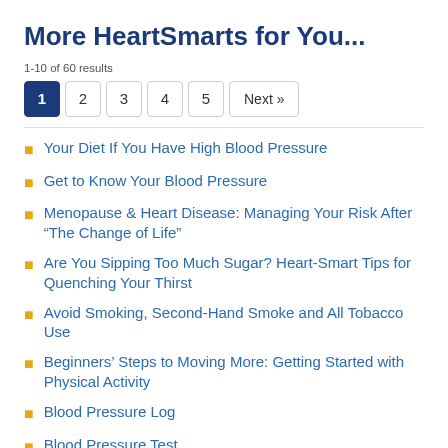More HeartSmarts for You...
1-10 of 60 results
Pagination: 1 2 3 4 5 Next »
Your Diet If You Have High Blood Pressure
Get to Know Your Blood Pressure
Menopause & Heart Disease: Managing Your Risk After “The Change of Life”
Are You Sipping Too Much Sugar? Heart-Smart Tips for Quenching Your Thirst
Avoid Smoking, Second-Hand Smoke and All Tobacco Use
Beginners’ Steps to Moving More: Getting Started with Physical Activity
Blood Pressure Log
Blood Pressure Test
Causes of High Blood Pressure (Hypertension)
Cholesterol/Lipids Test